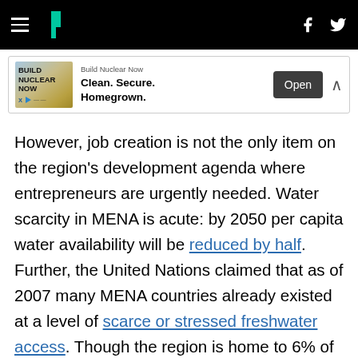HuffPost navigation with hamburger menu, logo, Facebook and Twitter icons
[Figure (other): Advertisement banner: Build Nuclear Now — Clean. Secure. Homegrown. with Open button]
However, job creation is not the only item on the region's development agenda where entrepreneurs are urgently needed. Water scarcity in MENA is acute: by 2050 per capita water availability will be reduced by half. Further, the United Nations claimed that as of 2007 many MENA countries already existed at a level of scarce or stressed freshwater access. Though the region is home to 6% of the world's population, it has approximately 1% of global freshwater reserves. Of equal concern, now